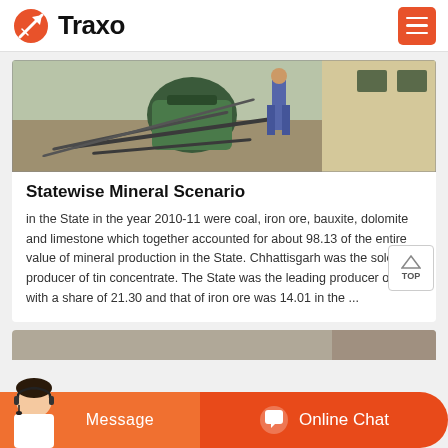Traxo
[Figure (photo): Industrial machinery and cables on a worksite floor]
Statewise Mineral Scenario
in the State in the year 2010-11 were coal, iron ore, bauxite, dolomite and limestone which together accounted for about 98.13 of the entire value of mineral production in the State. Chhattisgarh was the sole producer of tin concentrate. The State was the leading producer of coal with a share of 21.30 and that of iron ore was 14.01 in the ...
[Figure (photo): Partial view of second content card at bottom of page]
Message
Online Chat